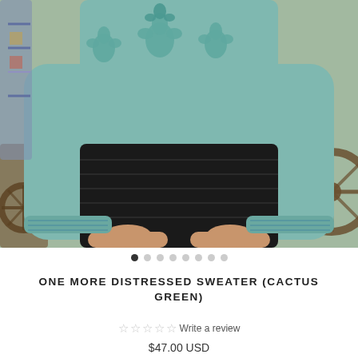[Figure (photo): Woman wearing a teal/cactus green distressed knit sweater with cactus/floral motifs and a black ribbed mini skirt, posed outdoors near a wooden wagon wheel. Photo is cropped at torso and legs level.]
ONE MORE DISTRESSED SWEATER (CACTUS GREEN)
☆ ☆ ☆ ☆ ☆ Write a review
$47.00 USD